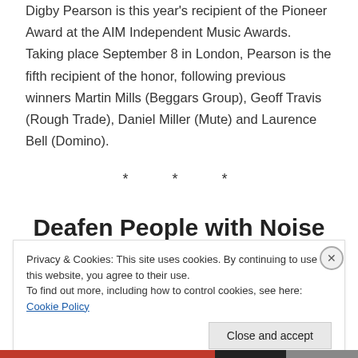Digby Pearson is this year's recipient of the Pioneer Award at the AIM Independent Music Awards. Taking place September 8 in London, Pearson is the fifth recipient of the honor, following previous winners Martin Mills (Beggars Group), Geoff Travis (Rough Trade), Daniel Miller (Mute) and Laurence Bell (Domino).
* * *
Deafen People with Noise
Privacy & Cookies: This site uses cookies. By continuing to use this website, you agree to their use.
To find out more, including how to control cookies, see here: Cookie Policy
Close and accept